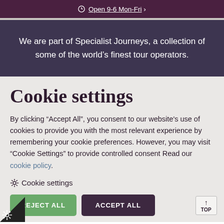Open 9-6 Mon-Fri
We are part of Specialist Journeys, a collection of some of the world’s finest tour operators.
Cookie settings
By clicking "Accept All", you consent to our website's use of cookies to provide you with the most relevant experience by remembering your cookie preferences. However, you may visit "Cookie Settings" to provide controlled consent Read our cookie policy.
⚙ Cookie settings
REJECT ALL   ACCEPT ALL